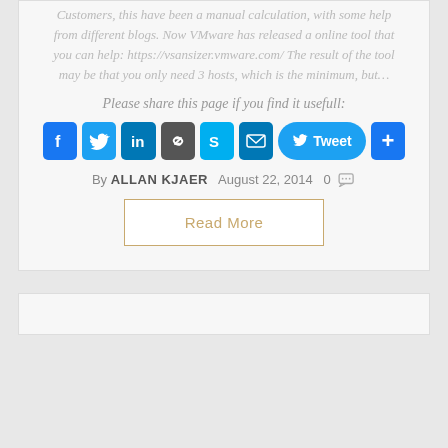Customers, this have been a manual calculation, with some help from different blogs. Now VMware has released a online tool that you can help: https://vsansizer.vmware.com/ The result of the tool may be that you only need 3 hosts, which is the minimum, but…
Please share this page if you find it usefull:
[Figure (infographic): Social share buttons: Facebook, Twitter, LinkedIn, Link, Skype, Email, Tweet (Twitter), Share (+)]
By ALLAN KJAER  August 22, 2014  0
Read More